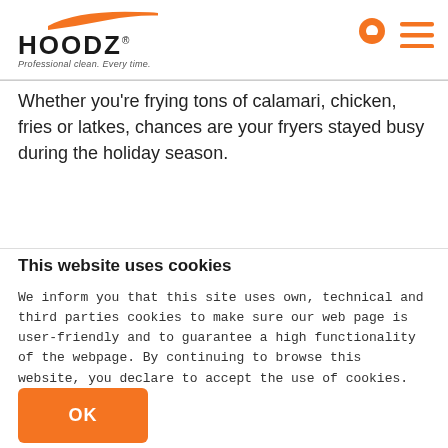[Figure (logo): HOODZ logo with orange swoosh above text, tagline 'Professional clean. Every time.' Location pin icon and hamburger menu icon on the right.]
Whether you're frying tons of calamari, chicken, fries or latkes, chances are your fryers stayed busy during the holiday season.
This website uses cookies
We inform you that this site uses own, technical and third parties cookies to make sure our web page is user-friendly and to guarantee a high functionality of the webpage. By continuing to browse this website, you declare to accept the use of cookies.
OK